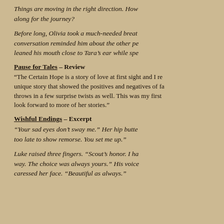Things are moving in the right direction. How along for the journey?
Before long, Olivia took a much-needed breat conversation reminded him about the other pe leaned his mouth close to Tara’s ear while spe
Pause for Tales – Review
“The Certain Hope is a story of love at first sight and I re unique story that showed the positives and negatives of fa throws in a few surprise twists as well. This was my first look forward to more of her stories.”
Wishful Endings – Excerpt
“Your sad eyes don’t sway me.” Her hip butte too late to show remorse. You set me up.”
Luke raised three fingers. “Scout’s honor. I ha way. The choice was always yours.” His voice caressed her face. “Beautiful as always.”